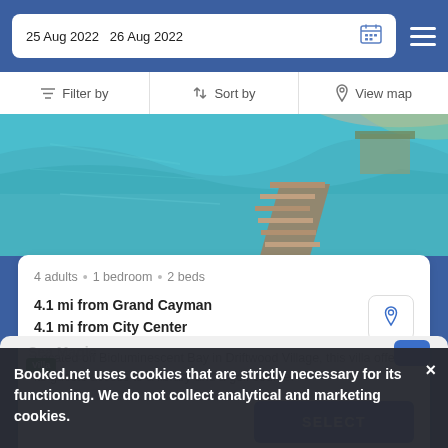25 Aug 2022   26 Aug 2022
Filter by   Sort by   View map
[Figure (photo): Tropical turquoise water with a wooden dock/pier on the right side]
4 adults • 1 bedroom • 2 beds
4.1 mi from Grand Cayman
4.1 mi from City Center
Located off Bioluminescent Bay in Driftwood Village, this villa offers its guests access to a library and a golf course.
SELECT
Booked.net uses cookies that are strictly necessary for its functioning. We do not collect analytical and marketing cookies.